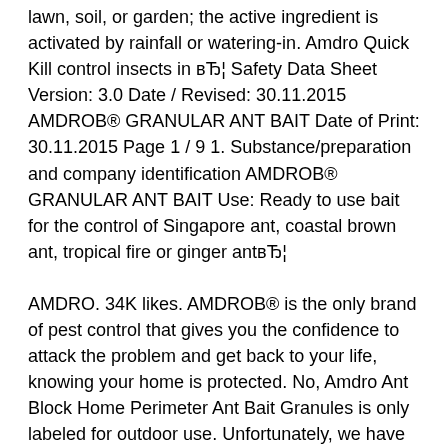lawn, soil, or garden; the active ingredient is activated by rainfall or watering-in. Amdro Quick Kill control insects in вЂ¦ Safety Data Sheet Version: 3.0 Date / Revised: 30.11.2015 AMDROB® GRANULAR ANT BAIT Date of Print: 30.11.2015 Page 1 / 9 1. Substance/preparation and company identification AMDROB® GRANULAR ANT BAIT Use: Ready to use bait for the control of Singapore ant, coastal brown ant, tropical fire or ginger antвЂ¦
AMDRO. 34K likes. AMDROB® is the only brand of pest control that gives you the confidence to attack the problem and get back to your life, knowing your home is protected. No, Amdro Ant Block Home Perimeter Ant Bait Granules is only labeled for outdoor use. Unfortunately, we have not been imformed of why Amdro Ant Block Home Perimeter Ant Bait Granules is not labeled for indoor use. You can contact the manufacturer at 1-800-265-0761 for further clarification on